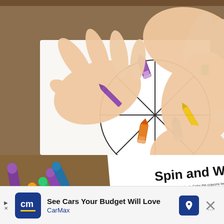[Figure (photo): Child's hands coloring a spinner worksheet with crayons — a purple crayon in one hand and a yellow crayon in the other. The spinner has sections with colored crayon illustrations (purple, orange, blue) on white paper on a wooden surface.]
[Figure (photo): Colored markers (orange, red, green, blue, purple) lying on a wooden table next to a worksheet titled 'Spin and Write' with directions text and numbered sections. The number 12 and letter A are visible.]
See Cars Your Budget Will Love
CarMax